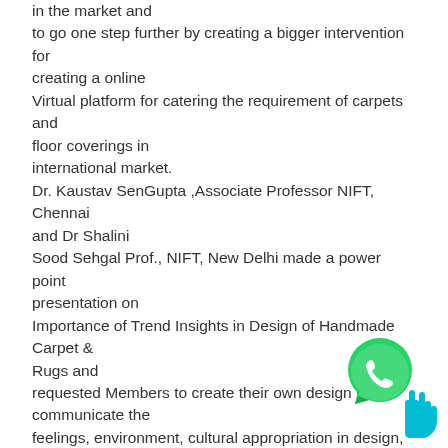in the market and to go one step further by creating a bigger intervention for creating a online Virtual platform for catering the requirement of carpets and floor coverings in international market. Dr. Kaustav SenGupta ,Associate Professor NIFT, Chennai and Dr Shalini Sood Sehgal Prof., NIFT, New Delhi made a power point presentation on Importance of Trend Insights in Design of Handmade Carpet & Rugs and requested Members to create their own design to communicate the feelings, environment, cultural appropriation in design, learn to appreciate and use what is available locally, material innovation in design. Need to create a product as per the mindset of end consumer by using human intelligence with Artificial Intelligence. Stra will vary for each product and market. Shri Sanjay Kumar appreciate Dr. SenGupta and Dr. Shalini
[Figure (illustration): WhatsApp icon (speech bubble with phone) and a cursor/pointer icon in teal color, overlapping bottom-right corner]